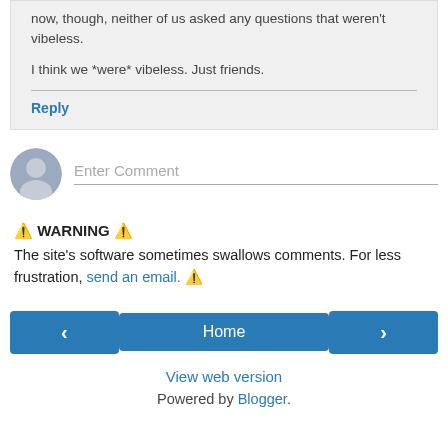now, though, neither of us asked any questions that weren't vibeless.

I think we *were* vibeless. Just friends.
Reply
[Figure (other): Enter Comment input field with avatar icon]
⚠️ WARNING ⚠️
The site's software sometimes swallows comments. For less frustration, send an email. ⚠️
[Figure (other): Navigation buttons: left arrow, Home, right arrow]
View web version
Powered by Blogger.